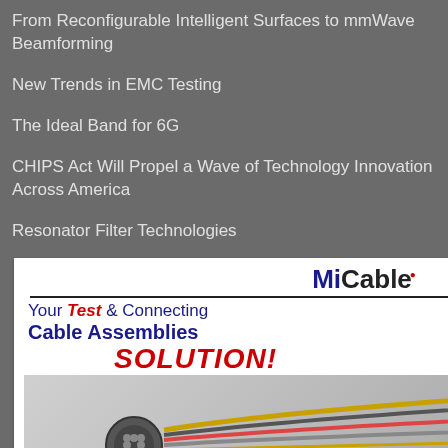From Reconfigurable Intelligent Surfaces to mmWave Beamforming
New Trends in EMC Testing
The Ideal Band for 6G
CHIPS Act Will Propel a Wave of Technology Innovation Across America
Resonator Filter Technologies
[Figure (illustration): MiCable advertisement for Test & Connecting Cable Assemblies Solution, featuring the MiCable logo, tagline 'Your Test & Connecting Cable Assemblies SOLUTION!', and an image of cable assemblies with a QR code and reCAPTCHA badge.]